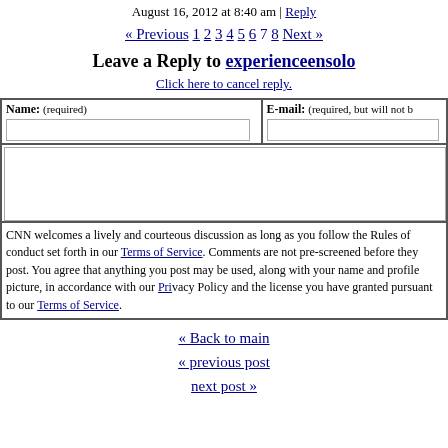August 16, 2012 at 8:40 am | Reply
« Previous 1 2 3 4 5 6 7 8 Next »
Leave a Reply to experienceensolo
Click here to cancel reply.
| Name: (required) | E-mail: (required, but will not be published) |
| --- | --- |
|  |  |
CNN welcomes a lively and courteous discussion as long as you follow the Rules of Conduct set forth in our Terms of Service. Comments are not pre-screened before they post. You agree that anything you post may be used, along with your name and profile picture, in accordance with our Privacy Policy and the license you have granted pursuant to our Terms of Service.
« Back to main
« previous post
next post »